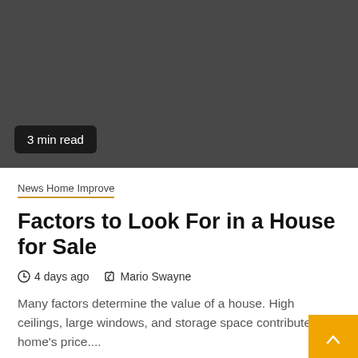[Figure (photo): Dark gray hero image placeholder with a '3 min read' badge in the lower left corner]
News Home Improve
Factors to Look For in a House for Sale
4 days ago   Mario Swayne
Many factors determine the value of a house. High ceilings, large windows, and storage space contribute to a home's price....